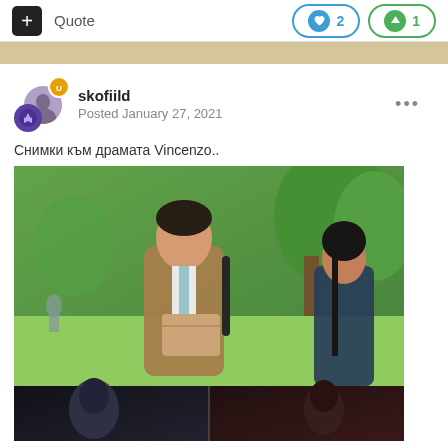+ Quote
❤ 2
▲ 1
skofiild
Posted January 27, 2021
Снимки към драмата Vincenzo..
[Figure (photo): Drama still from Vincenzo showing a young man in a brown suit with a striped tie holding a manila envelope, smiling at a woman; lush green park background. Below are two darker sub-images partially visible.]